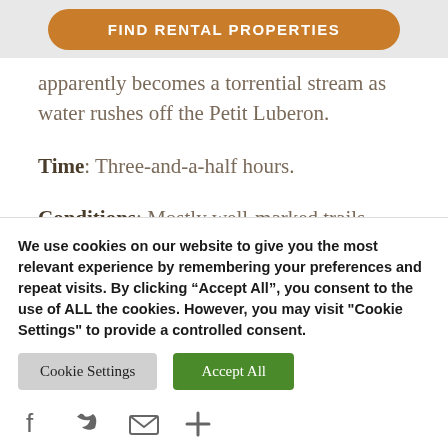[Figure (other): Orange rounded button with text FIND RENTAL PROPERTIES on a light grey banner background]
apparently becomes a torrential stream as water rushes off the Petit Luberon.
Time: Three-and-a-half hours.
Conditions: Mostly well-marked trails through farmland, a narrow gorge, woods, and mountains. The walk through the gorge itself involves some steep climbs on rocks.
We use cookies on our website to give you the most relevant experience by remembering your preferences and repeat visits. By clicking “Accept All”, you consent to the use of ALL the cookies. However, you may visit "Cookie Settings" to provide a controlled consent.
[Figure (other): Cookie Settings button (grey) and Accept All button (green)]
[Figure (other): Social share icons: Facebook, Twitter, Email, Plus]